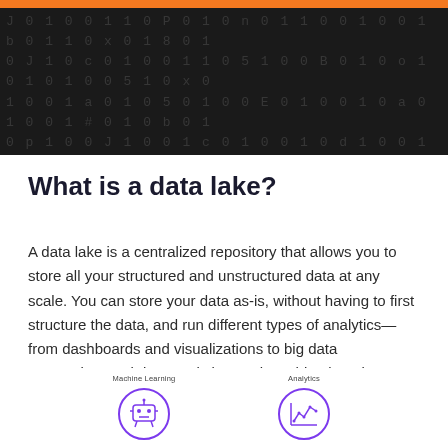[Figure (illustration): Dark background header with falling binary/alphanumeric characters in a matrix-like pattern, with an orange bar at the top]
What is a data lake?
A data lake is a centralized repository that allows you to store all your structured and unstructured data at any scale. You can store your data as-is, without having to first structure the data, and run different types of analytics—from dashboards and visualizations to big data processing, real-time analytics, and machine learning to guide better decisions.
[Figure (illustration): Two circular purple-outlined icons at the bottom: 'Machine Learning' with a robot/AI icon, and 'Analytics' with a graph/chart icon]